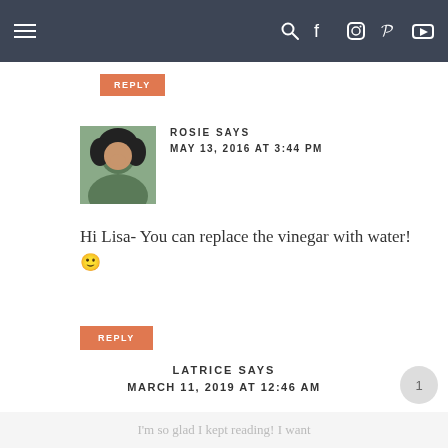Navigation bar with hamburger menu and social media icons
REPLY
[Figure (photo): Profile photo of Rosie, a woman with curly hair]
ROSIE SAYS
MAY 13, 2016 AT 3:44 PM
Hi Lisa- You can replace the vinegar with water! 🙂
REPLY
LATRICE SAYS
MARCH 11, 2019 AT 12:46 AM
I'm so glad I kept reading! I want